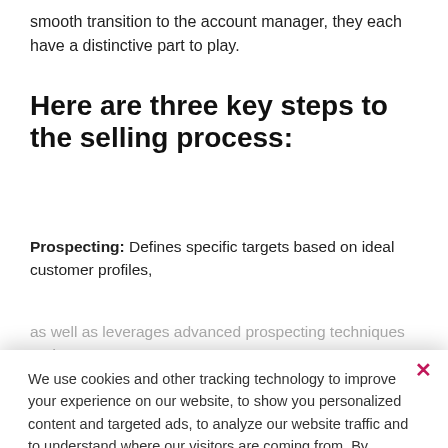smooth transition to the account manager, they each have a distinctive part to play.
Here are three key steps to the selling process:
Prospecting: Defines specific targets based on ideal customer profiles,
as well as leverages advanced prospecting techniques and
We use cookies and other tracking technology to improve your experience on our website, to show you personalized content and targeted ads, to analyze our website traffic and to understand where our visitors are coming from. By browsing our website, you consent to our use of cookies and other tracking technologies.
Accept
Learn more about how we use cookies.